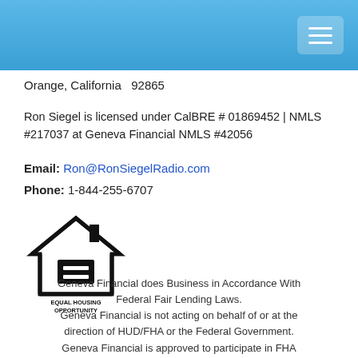Orange, California  92865
Ron Siegel is licensed under CalBRE # 01869452 | NMLS #217037 at Geneva Financial NMLS #42056
Email: Ron@RonSiegelRadio.com
Phone: 1-844-255-6707
[Figure (logo): Equal Housing Opportunity logo with house icon and text 'EQUAL HOUSING OPPORTUNITY']
Geneva Financial does Business in Accordance With Federal Fair Lending Laws. Geneva Financial is not acting on behalf of or at the direction of HUD/FHA or the Federal Government. Geneva Financial is approved to participate in FHA programs but the products and services performed by